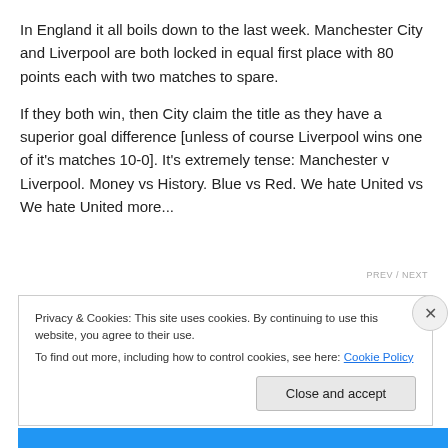In England it all boils down to the last week. Manchester City and Liverpool are both locked in equal first place with 80 points each with two matches to spare.
If they both win, then City claim the title as they have a superior goal difference [unless of course Liverpool wins one of it's matches 10-0]. It's extremely tense: Manchester v Liverpool. Money vs History. Blue vs Red. We hate United vs We hate United more...
Privacy & Cookies: This site uses cookies. By continuing to use this website, you agree to their use.
To find out more, including how to control cookies, see here: Cookie Policy